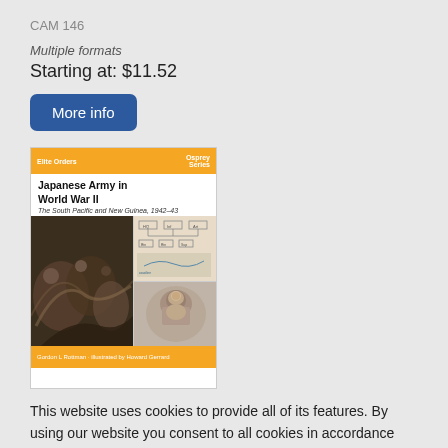CAM 146
Multiple formats
Starting at: $11.52
More info
[Figure (photo): Book cover for 'Japanese Army in World War II: The South Pacific and New Guinea, 1942-43' published by Osprey. Orange header and footer, white title area, and collage of historical battle painting, military map/organizational chart, and portrait photo.]
This website uses cookies to provide all of its features. By using our website you consent to all cookies in accordance with our Cookie Policy.
Close